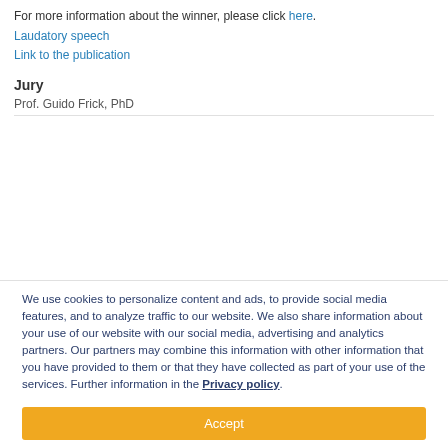For more information about the winner, please click here.
Laudatory speech
Link to the publication
Jury
Prof. Guido Frick, PhD
We use cookies to personalize content and ads, to provide social media features, and to analyze traffic to our website. We also share information about your use of our website with our social media, advertising and analytics partners. Our partners may combine this information with other information that you have provided to them or that they have collected as part of your use of the services. Further information in the Privacy policy.
Accept
Edit settings...